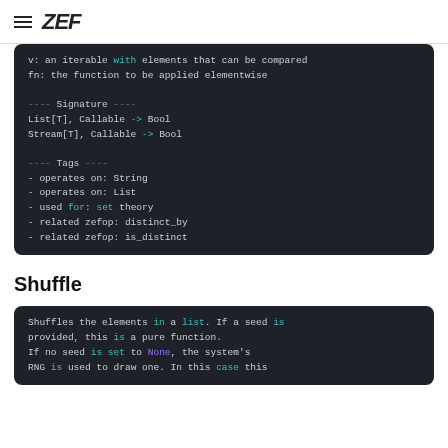ZEF
v: an iterable with elements that can be compared
fn: the function to be applied elementwise

---- Signature ----
List[T], Callable -> Bool
Stream[T], Callable -> Bool

---- Tags ----
- operates on: String
- operates on: List
- used for: set theory
- related zefop: distinct_by
- related zefop: is_distinct
Shuffle
Shuffles the elements in a list. If a seed is provided, this is a pure function.
If no seed is set to None, the system's RNG is used to draw one. In this case this